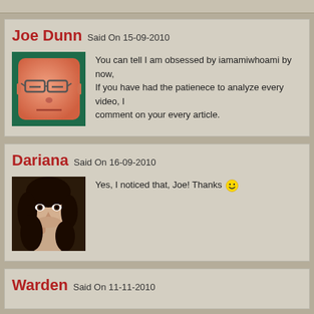Joe Dunn Said On 15-09-2010
You can tell I am obsessed by iamamiwhoami by now, If you have had the patienece to analyze every video, I comment on your every article.
Dariana Said On 16-09-2010
Yes, I noticed that, Joe! Thanks 🙂
Warden Said On 11-11-2010